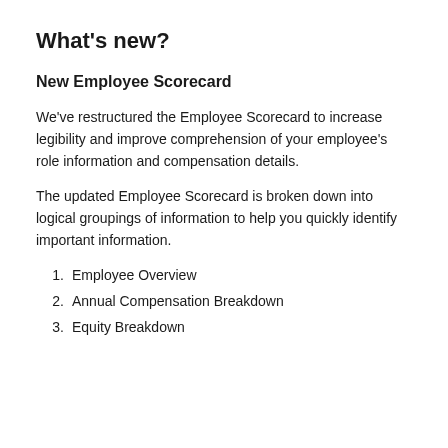What’s new?
New Employee Scorecard
We’ve restructured the Employee Scorecard to increase legibility and improve comprehension of your employee’s role information and compensation details.
The updated Employee Scorecard is broken down into logical groupings of information to help you quickly identify important information.
1.  Employee Overview
2.  Annual Compensation Breakdown
3.  Equity Breakdown